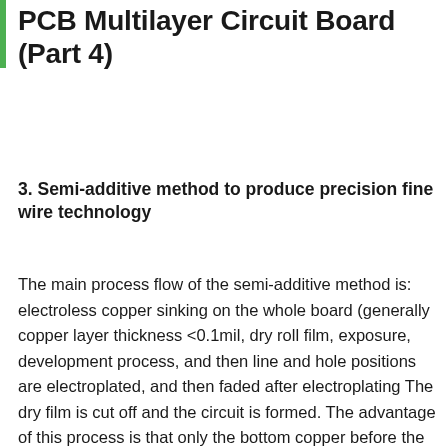PCB Multilayer Circuit Board (Part 4)
3. Semi-additive method to produce precision fine wire technology
The main process flow of the semi-additive method is: electroless copper sinking on the whole board (generally copper layer thickness <0.1mil, dry roll film, exposure, development process, and then line and hole positions are electroplated, and then faded after electroplating The dry film is cut off and the circuit is formed. The advantage of this process is that only the bottom copper before the pattern plating (usually <0.1mil) is etched during etching. Therefore, the etching process will not cause obvious side etching to the lines. Lines are distorted.